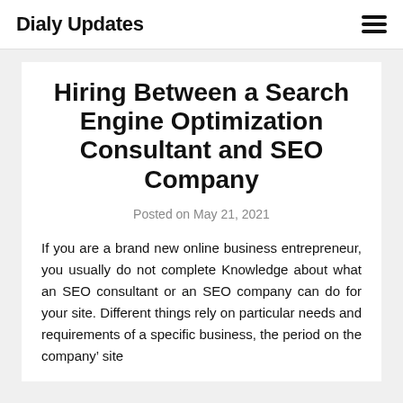Dialy Updates
Hiring Between a Search Engine Optimization Consultant and SEO Company
Posted on May 21, 2021
If you are a brand new online business entrepreneur, you usually do not complete Knowledge about what an SEO consultant or an SEO company can do for your site. Different things rely on particular needs and requirements of a specific business, the period on the company’ site